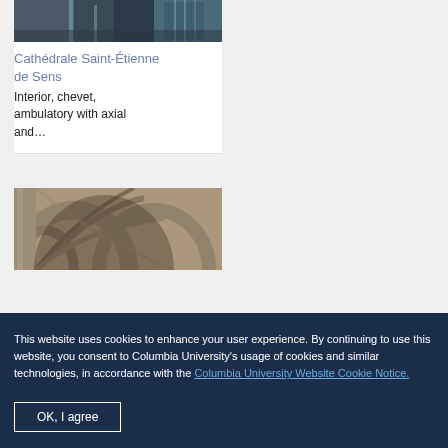[Figure (photo): Interior of a cathedral with iron gates and architectural details, dark bluish tones]
Cathédrale Saint-Étienne de Sens
Interior, chevet, ambulatory with axial and...
[Figure (photo): Interior of a Gothic cathedral showing arched vaulting and stone columns]
This website uses cookies to enhance your user experience. By continuing to use this website, you consent to Columbia University's usage of cookies and similar technologies, in accordance with the Columbia University Website Cookie Notice.
OK, I agree